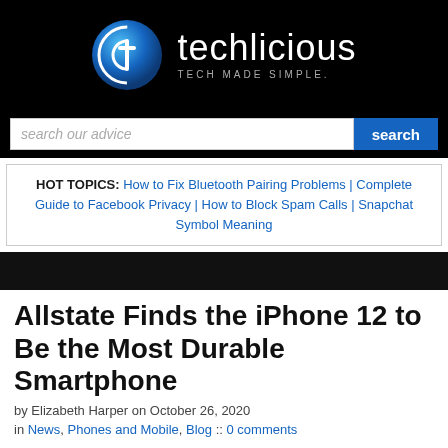[Figure (logo): Techlicious logo with circular icon and text 'techlicious TECH MADE SIMPLE.' on black background]
[Figure (screenshot): Search bar with placeholder 'search our advice' and blue 'search' button]
HOT TOPICS: How to Fix Bluetooth Pairing Problems | Complete Guide to Facebook Privacy | How to Block Spam Calls | Snapchat Symbol Meaning
[Figure (photo): Black image bar (article header image area)]
Allstate Finds the iPhone 12 to Be the Most Durable Smartphone
by Elizabeth Harper on October 26, 2020
in News, Phones and Mobile, Blog :: 0 comments
Techlicious editors independently review products. To help support our mission, we may earn affiliate commissions from links contained on this page.